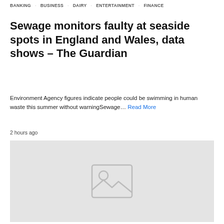BANKING  BUSINESS  DAIRY  ENTERTAINMENT  FINANCE
Sewage monitors faulty at seaside spots in England and Wales, data shows – The Guardian
Environment Agency figures indicate people could be swimming in human waste this summer without warningSewage… Read More
2 hours ago
[Figure (photo): Placeholder image with a generic image icon (mountain and sun outline) on a light grey background]